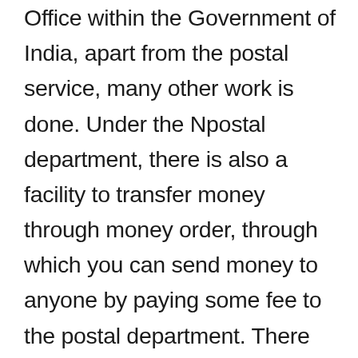Office within the Government of India, apart from the postal service, many other work is done. Under the Npostal department, there is also a facility to transfer money through money order, through which you can send money to anyone by paying some fee to the postal department. There are other services like Speed Post, Greeting Post, etc. It is the largest network for sending letters or any goods all over India. And the medium of such a large network of post office is the